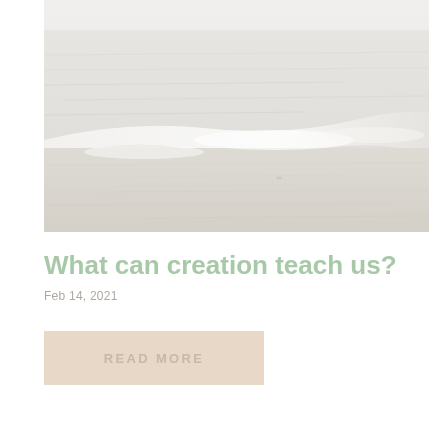[Figure (photo): A washed-out, pale beach scene with gentle ocean waves meeting sandy shore, very high-key / overexposed white-toned photograph]
What can creation teach us?
Feb 14, 2021
READ MORE